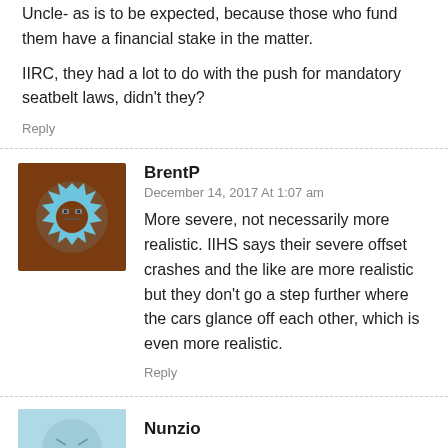But they do do a more realistic crash test than Uncle- as is to be expected, because those who fund them have a financial stake in the matter.
IIRC, they had a lot to do with the push for mandatory seatbelt laws, didn't they?
Reply
BrentP
December 14, 2017 At 1:07 am
More severe, not necessarily more realistic. IIHS says their severe offset crashes and the like are more realistic but they don't go a step further where the cars glance off each other, which is even more realistic.
Reply
Nunzio